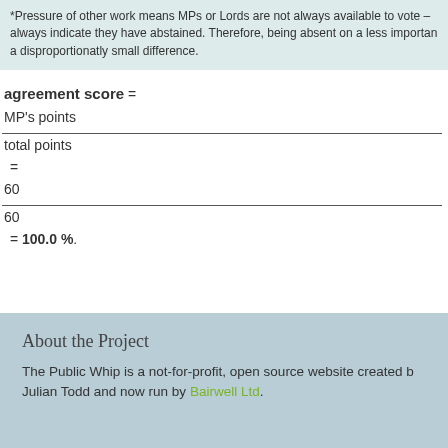*Pressure of other work means MPs or Lords are not always available to vote – always indicate they have abstained. Therefore, being absent on a less important a disproportionatly small difference.
About the Project
The Public Whip is a not-for-profit, open source website created by Julian Todd and now run by Bairwell Ltd.